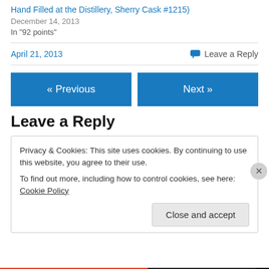Hand Filled at the Distillery, Sherry Cask #1215)
December 14, 2013
In "92 points"
April 21, 2013
Leave a Reply
« Previous
Next »
Leave a Reply
Privacy & Cookies: This site uses cookies. By continuing to use this website, you agree to their use.
To find out more, including how to control cookies, see here: Cookie Policy
Close and accept